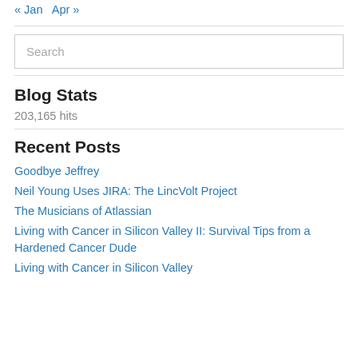« Jan   Apr »
Search
Blog Stats
203,165 hits
Recent Posts
Goodbye Jeffrey
Neil Young Uses JIRA: The LincVolt Project
The Musicians of Atlassian
Living with Cancer in Silicon Valley II: Survival Tips from a Hardened Cancer Dude
Living with Cancer in Silicon Valley